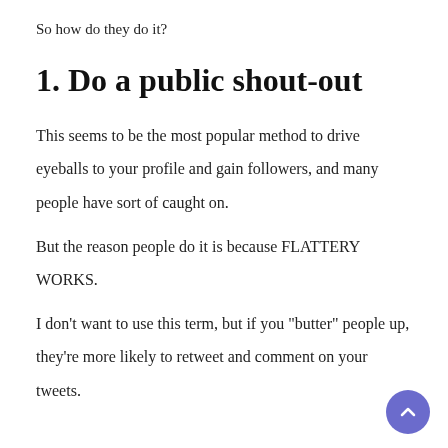So how do they do it?
1. Do a public shout-out
This seems to be the most popular method to drive eyeballs to your profile and gain followers, and many people have sort of caught on.
But the reason people do it is because FLATTERY WORKS.
I don't want to use this term, but if you "butter" people up, they're more likely to retweet and comment on your tweets.